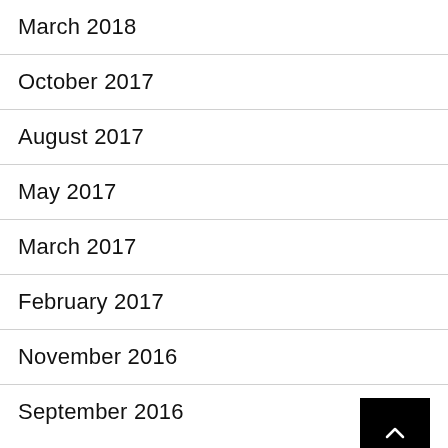March 2018
October 2017
August 2017
May 2017
March 2017
February 2017
November 2016
September 2016
August 2016